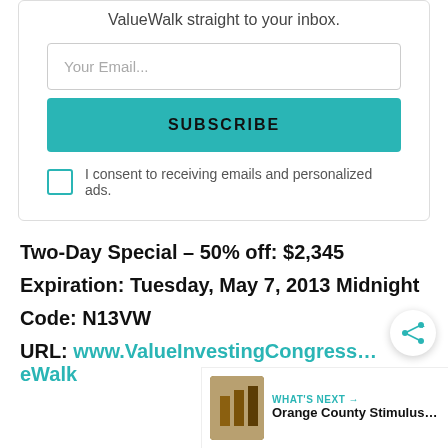ValueWalk straight to your inbox.
Your Email...
SUBSCRIBE
I consent to receiving emails and personalized ads.
Two-Day Special – 50% off: $2,345
Expiration: Tuesday, May 7, 2013 Midnight
Code: N13VW
URL:  www.ValueInvestingCongress...eWalk